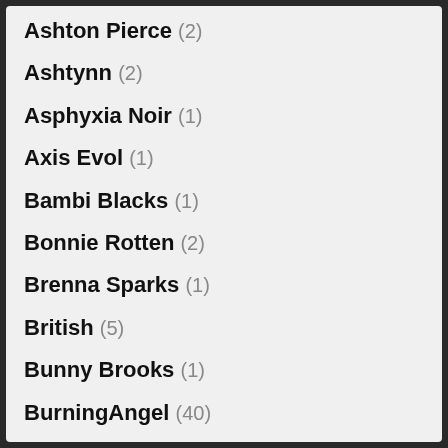Ashton Pierce (2)
Ashtynn (2)
Asphyxia Noir (1)
Axis Evol (1)
Bambi Blacks (1)
Bonnie Rotten (2)
Brenna Sparks (1)
British (5)
Bunny Brooks (1)
BurningAngel (40)
Busty Josie (1)
Cali Nova (2)
Charlotte Sartre (1)
Christina Chaos (3)
Christmas (11)
Christy Mack (8)